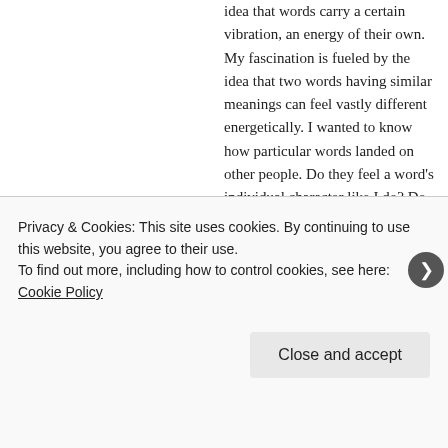idea that words carry a certain vibration, an energy of their own. My fascination is fueled by the idea that two words having similar meanings can feel vastly different energetically. I wanted to know how particular words landed on other people. Do they feel a word's individual character like I do? Do other people notice how the words we use, in large part, create the experience we are having? I decided to write random words, 103 to be exact, on pieces of paper. I folded
Privacy & Cookies: This site uses cookies. By continuing to use this website, you agree to their use.
To find out more, including how to control cookies, see here: Cookie Policy
Close and accept